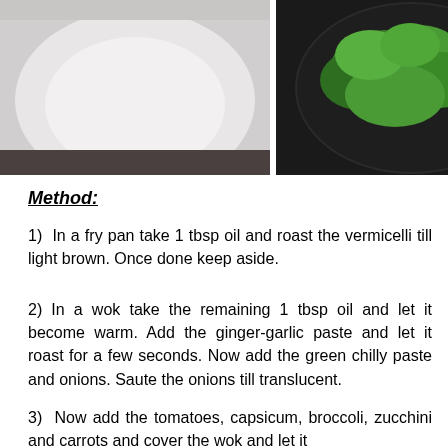[Figure (photo): Two food photos side by side: left shows a white plate/bowl with light colored food, right shows fresh green herbs (parsley/coriander) on a dark plate]
Method:
1)  In a fry pan take 1 tbsp oil and roast the vermicelli till light brown. Once done keep aside.
2) In a wok take the remaining 1 tbsp oil and let it become warm. Add the ginger-garlic paste and let it roast for a few seconds. Now add the green chilly paste and onions. Saute the onions till translucent.
3)  Now add the tomatoes, capsicum, broccoli, zucchini and carrots and cover the wok and let it cook for a few minutes on low to medium heat.